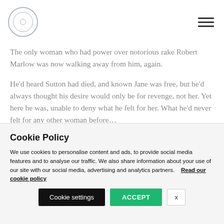[Figure (logo): Circular logo with concentric circles and central dot]
The only woman who had power over notorious rake Robert Marlow was now walking away from him, again.
He'd heard Sutton had died, and known Jane was free, but he'd always thought his desire would only be for revenge, not her. Yet here he was, unable to deny what he felt for her. What he'd never felt for any other woman before…
Cookie Policy
We use cookies to personalise content and ads, to provide social media features and to analyse our traffic. We also share information about your use of our site with our social media, advertising and analytics partners.    Read our cookie policy